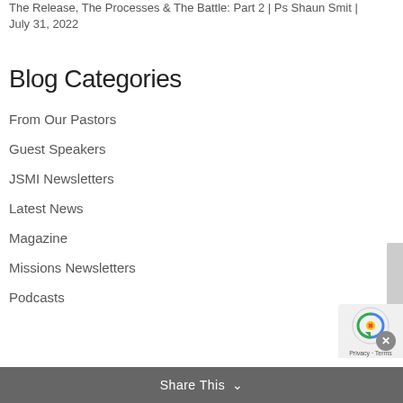The Release, The Processes & The Battle: Part 2 | Ps Shaun Smit | July 31, 2022
Blog Categories
From Our Pastors
Guest Speakers
JSMI Newsletters
Latest News
Magazine
Missions Newsletters
Podcasts
Share This ∨